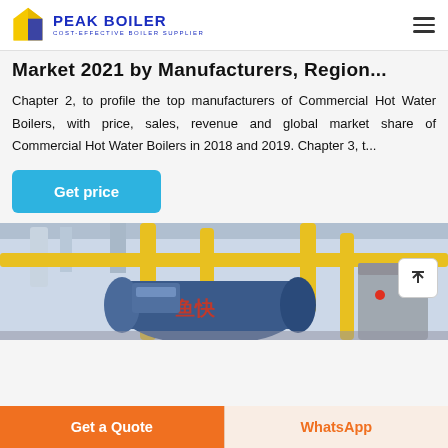PEAK BOILER - COST-EFFECTIVE BOILER SUPPLIER
Market 2021 by Manufacturers, Region...
Chapter 2, to profile the top manufacturers of Commercial Hot Water Boilers, with price, sales, revenue and global market share of Commercial Hot Water Boilers in 2018 and 2019. Chapter 3, t...
[Figure (other): Blue 'Get price' button]
[Figure (photo): Industrial boiler equipment with yellow pipes and blue cylindrical boiler tank with Chinese characters]
[Figure (other): Bottom bar with 'Get a Quote' orange button and 'WhatsApp' button]